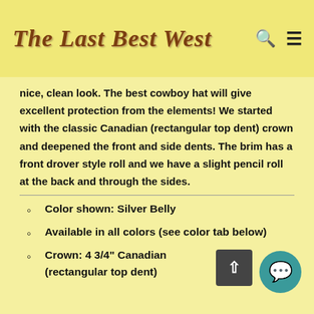The Last Best West
nice, clean look. The best cowboy hat will give excellent protection from the elements! We started with the classic Canadian (rectangular top dent) crown and deepened the front and side dents. The brim has a front drover style roll and we have a slight pencil roll at the back and through the sides.
Color shown: Silver Belly
Available in all colors (see color tab below)
Crown: 4 3/4" Canadian (rectangular top dent)